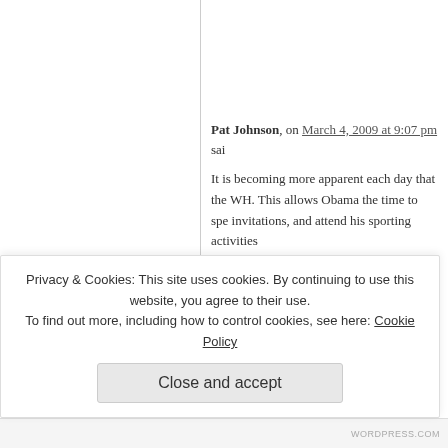Pat Johnson, on March 4, 2009 at 9:07 pm said:
It is becoming more apparent each day that the WH. This allows Obama the time to spe invitations, and attend his sporting activities
The agenda has been formulated and greas shows up, looks good by the standards set plotting and planning takes place elsewhere
Clinton burned the midnight oil driving his a 9:30pm. Obama is "bored". What does this daily test. Obama has his cheat sheet. Title
Privacy & Cookies: This site uses cookies. By continuing to use this website, you agree to their use.
To find out more, including how to control cookies, see here: Cookie Policy